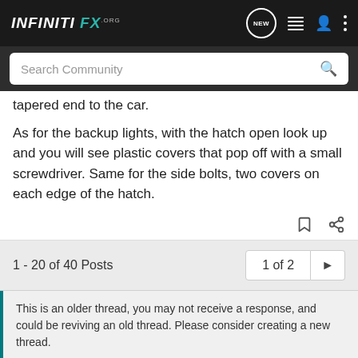INFINITI FX .org
tapered end to the car.
As for the backup lights, with the hatch open look up and you will see plastic covers that pop off with a small screwdriver. Same for the side bolts, two covers on each edge of the hatch.
1 - 20 of 40 Posts
1 of 2
This is an older thread, you may not receive a response, and could be reviving an old thread. Please consider creating a new thread.